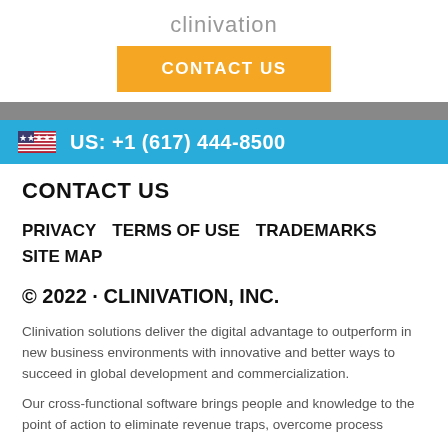clinivation
[Figure (other): Orange CONTACT US button]
[Figure (other): Gray horizontal bar divider]
[Figure (other): Blue banner with US flag and phone number: US: +1 (617) 444-8500]
CONTACT US
PRIVACY    TERMS OF USE    TRADEMARKS    SITE MAP
© 2022 · CLINIVATION, INC.
Clinivation solutions deliver the digital advantage to outperform in new business environments with innovative and better ways to succeed in global development and commercialization.
Our cross-functional software brings people and knowledge to the point of action to eliminate revenue traps, overcome process